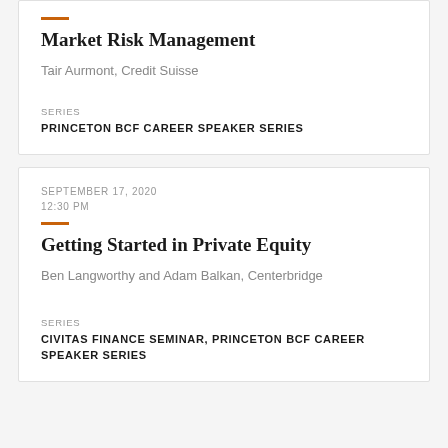Market Risk Management
Tair Aurmont, Credit Suisse
SERIES
PRINCETON BCF CAREER SPEAKER SERIES
SEPTEMBER 17, 2020 12:30 PM
Getting Started in Private Equity
Ben Langworthy and Adam Balkan, Centerbridge
SERIES
CIVITAS FINANCE SEMINAR, PRINCETON BCF CAREER SPEAKER SERIES